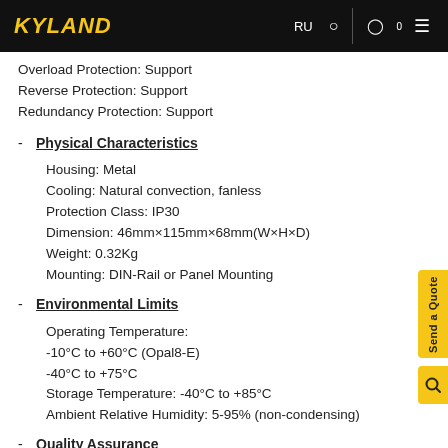KYLAND — RU [search] [account] [menu]
Overload Protection: Support
Reverse Protection: Support
Redundancy Protection: Support
Physical Characteristics
Housing: Metal
Cooling: Natural convection, fanless
Protection Class: IP30
Dimension: 46mm×115mm×68mm(W×H×D)
Weight: 0.32Kg
Mounting: DIN-Rail or Panel Mounting
Environmental Limits
Operating Temperature:
-10°C to +60°C (Opal8-E)
-40°C to +75°C
Storage Temperature: -40°C to +85°C
Ambient Relative Humidity: 5-95% (non-condensing)
Quality Assurance